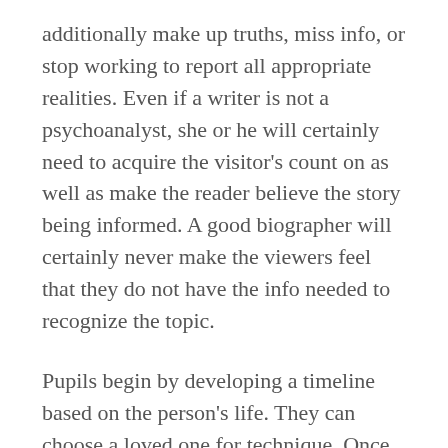additionally make up truths, miss info, or stop working to report all appropriate realities. Even if a writer is not a psychoanalyst, she or he will certainly need to acquire the visitor's count on as well as make the reader believe the story being informed. A good biographer will certainly never make the viewers feel that they do not have the info needed to recognize the topic.
Pupils begin by developing a timeline based on the person's life. They can choose a loved one for technique. Once they have actually completed their study, they arrange the main events of the person's life onto the timeline. Some trainees also include photos with subtitles, so they can demonstrate how vital these memories are to them. When the timeline is full, they can provide their job to the class. If there are any type of modifications they would love to make, they can